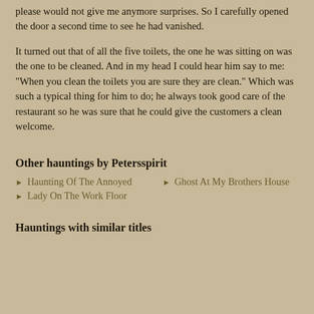please would not give me anymore surprises. So I carefully opened the door a second time to see he had vanished.
It turned out that of all the five toilets, the one he was sitting on was the one to be cleaned. And in my head I could hear him say to me: "When you clean the toilets you are sure they are clean." Which was such a typical thing for him to do; he always took good care of the restaurant so he was sure that he could give the customers a clean welcome.
Other hauntings by Petersspirit
Haunting Of The Annoyed
Ghost At My Brothers House
Lady On The Work Floor
Hauntings with similar titles